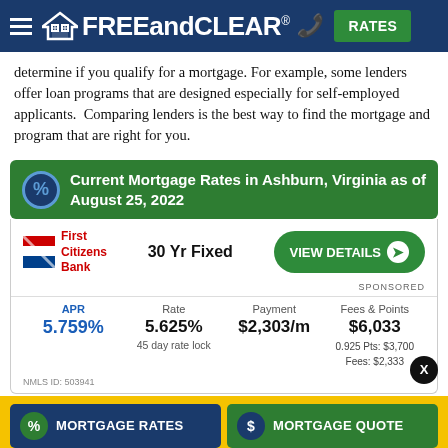FREEandCLEAR® — RATES
determine if you qualify for a mortgage. For example, some lenders offer loan programs that are designed especially for self-employed applicants. Comparing lenders is the best way to find the mortgage and program that are right for you.
Current Mortgage Rates in Ashburn, Virginia as of August 25, 2022
|  | 30 Yr Fixed | VIEW DETAILS | SPONSORED |
| --- | --- | --- | --- |
| APR | Rate | Payment | Fees & Points |
| 5.759% | 5.625% | $2,303/m | $6,033 |
|  | 45 day rate lock |  | 0.925 Pts: $3,700
Fees: $2,333 |
NMLS ID: 503941
MORTGAGE RATES   MORTGAGE QUOTE
✓ Top Lenders   ✓ Lowest Rates   ✓ Free
Prior Page   Next Page